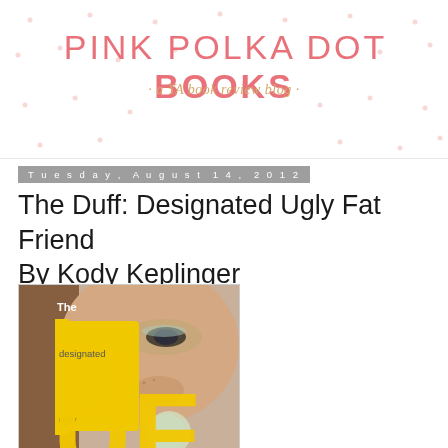PINK POLKA DOT BOOKS · a YA book review blog
Tuesday, August 14, 2012
The Duff: Designated Ugly Fat Friend By Kody Keplinger
[Figure (photo): Book cover of 'The DUFF: Designated Ugly Fat Friend' by Kody Keplinger, showing a close-up of a young woman's face with large yellow letters spelling DUFF, with the words 'The', 'designated', 'ugly' in smaller text.]